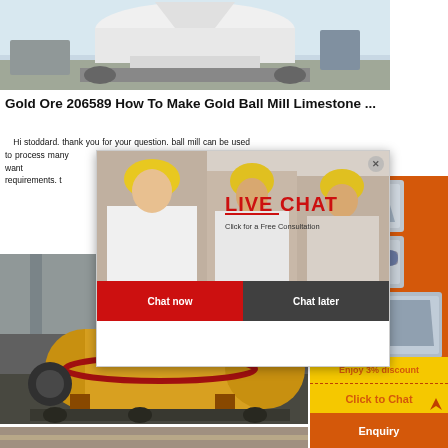[Figure (photo): Industrial milling machine in factory, white/light colored, top portion visible]
Gold Ore 206589 How To Make Gold Ball Mill Limestone ...
Hi stoddard. thank you for your question. ball mill can be used to process many ding limestone but if you want superfine grinc requirements. t
[Figure (photo): Yellow/gold industrial ball mill machine lying horizontally in factory setting]
[Figure (photo): Partially visible machinery at bottom of page]
[Figure (photo): Orange sidebar with industrial machinery product images - crusher, conveyor, mill equipment]
Enjoy 3% discount
Click to Chat
Enquiry
[Figure (screenshot): Live Chat popup overlay with workers wearing yellow hard hats, LIVE CHAT heading in red, subtitle Click for a Free Consultation, Chat now and Chat later buttons]